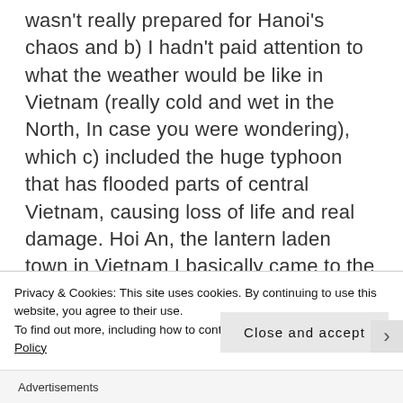wasn't really prepared for Hanoi's chaos and b) I hadn't paid attention to what the weather would be like in Vietnam (really cold and wet in the North, In case you were wondering), which c) included the huge typhoon that has flooded parts of central Vietnam, causing loss of life and real damage. Hoi An, the lantern laden town in Vietnam I basically came to the country to see, has been worst affected. All of this affected my plans and made me wish I had been SLIGHTLY more organised. It has required a bit more thinking on my feet now I'm here and I decided a few days ago that, rather than
Privacy & Cookies: This site uses cookies. By continuing to use this website, you agree to their use.
To find out more, including how to control cookies, see here: Cookie Policy
Close and accept
Advertisements